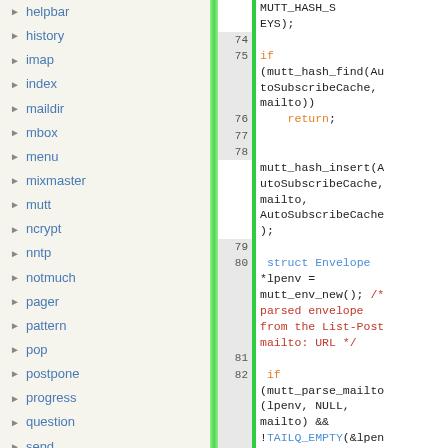helpbar
history
imap
index
maildir
mbox
menu
mixmaster
mutt
ncrypt
nntp
notmuch
pager
pattern
pop
postpone
progress
question
send
sidebar
[Figure (screenshot): Code viewer showing C source code lines 74-85 with line numbers, green change markers, syntax highlighting (blue keywords, orange keywords, red comments). Code includes mutt_hash_find, mutt_hash_insert, struct Envelope, mutt_env_new, mutt_parse_mailto, TAILQ_EMPTY, TAILQ_FIRST calls.]